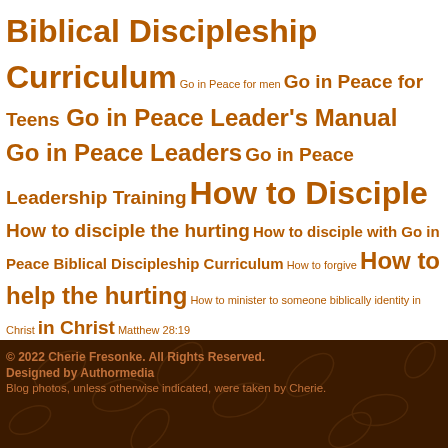[Figure (infographic): Tag cloud with various terms related to Biblical Discipleship in brown/orange text on white background, varying font sizes indicating frequency/importance.]
© 2022 Cherie Fresonke. All Rights Reserved.
Designed by Authormedia
Blog photos, unless otherwise indicated, were taken by Cherie.